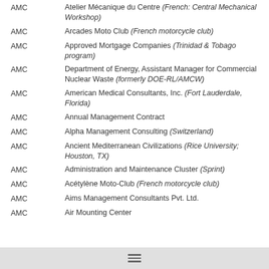AMC — Atelier Mécanique du Centre (French: Central Mechanical Workshop)
AMC — Arcades Moto Club (French motorcycle club)
AMC — Approved Mortgage Companies (Trinidad & Tobago program)
AMC — Department of Energy, Assistant Manager for Commercial Nuclear Waste (formerly DOE-RL/AMCW)
AMC — American Medical Consultants, Inc. (Fort Lauderdale, Florida)
AMC — Annual Management Contract
AMC — Alpha Management Consulting (Switzerland)
AMC — Ancient Mediterranean Civilizations (Rice University; Houston, TX)
AMC — Administration and Maintenance Cluster (Sprint)
AMC — Acétylène Moto-Club (French motorcycle club)
AMC — Aims Management Consultants Pvt. Ltd.
AMC — Air Mounting Center